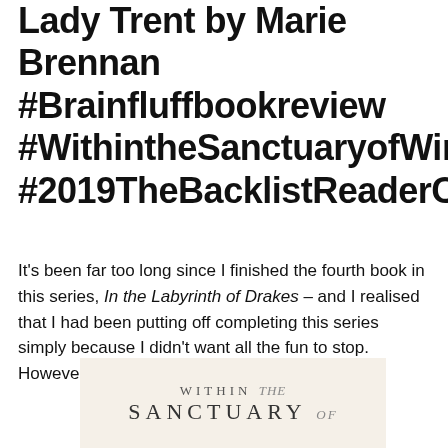Lady Trent by Marie Brennan #Brainfluffbookreview #WithintheSanctuaryofWingsbookreview #2019TheBacklistReaderChallenge
It's been far too long since I finished the fourth book in this series, In the Labyrinth of Drakes – and I realised that I had been putting off completing this series simply because I didn't want all the fun to stop. However, all good things must come to an end…
[Figure (illustration): Book cover image showing 'Within the Sanctuary of Wings' text on a light cream/beige background]